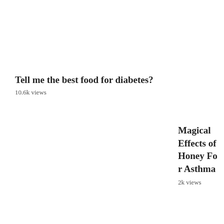Tell me the best food for diabetes?
10.6k views
Magical Effects of Honey For Asthma
2k views